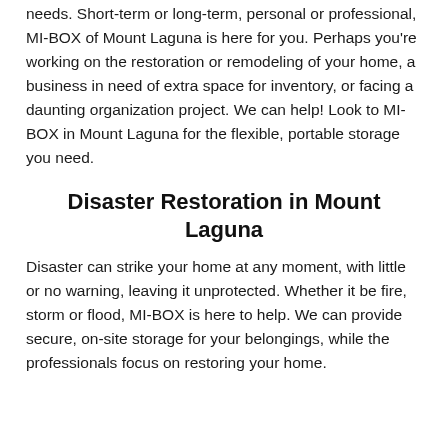needs. Short-term or long-term, personal or professional, MI-BOX of Mount Laguna is here for you. Perhaps you're working on the restoration or remodeling of your home, a business in need of extra space for inventory, or facing a daunting organization project. We can help! Look to MI-BOX in Mount Laguna for the flexible, portable storage you need.
Disaster Restoration in Mount Laguna
Disaster can strike your home at any moment, with little or no warning, leaving it unprotected. Whether it be fire, storm or flood, MI-BOX is here to help. We can provide secure, on-site storage for your belongings, while the professionals focus on restoring your home.